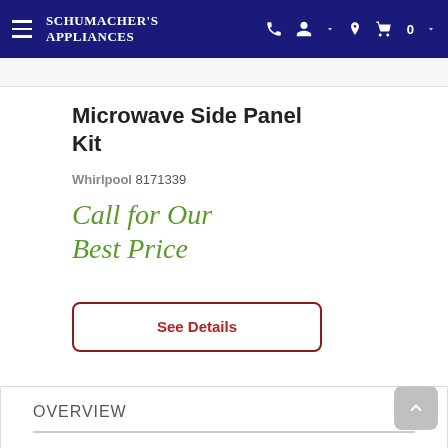Schumacher's Appliances
Microwave Side Panel Kit
Whirlpool 8171339
Call for Our Best Price
See Details
OVERVIEW